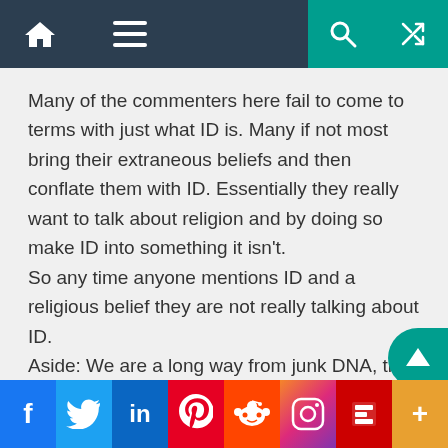Navigation bar with home, menu, search, and random icons
Many of the commenters here fail to come to terms with just what ID is. Many if not most bring their extraneous beliefs and then conflate them with ID. Essentially they really want to talk about religion and by doing so make ID into something it isn't.
So any time anyone mentions ID and a religious belief they are not really talking about ID.
Aside: We are a long way from junk DNA, the topic of the OP.
Social share bar: Facebook, Twitter, LinkedIn, Pinterest, Reddit, Instagram, Flipboard, More